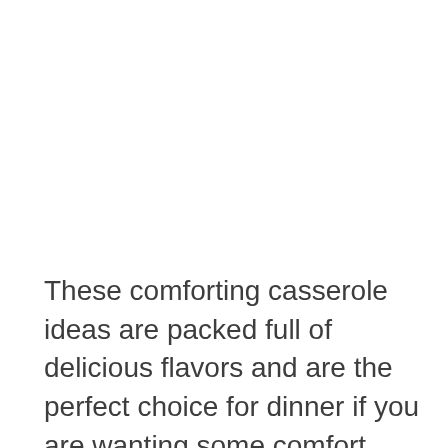These comforting casserole ideas are packed full of delicious flavors and are the perfect choice for dinner if you are wanting some comfort food. The whole family is sure to love these recipes. Whether you are looking for classic...